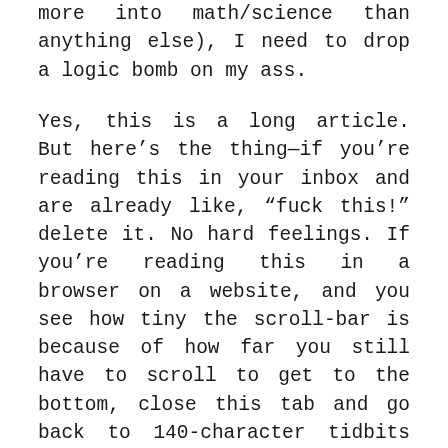more into math/science than anything else), I need to drop a logic bomb on my ass.
Yes, this is a long article. But here’s the thing—if you’re reading this in your inbox and are already like, “fuck this!” delete it. No hard feelings. If you’re reading this in a browser on a website, and you see how tiny the scroll-bar is because of how far you still have to scroll to get to the bottom, close this tab and go back to 140-character tidbits of advice. Still with me? Phew. Just had to weed out all the folks from points: #1, #4 and #8. Welcome friends, onward we go.